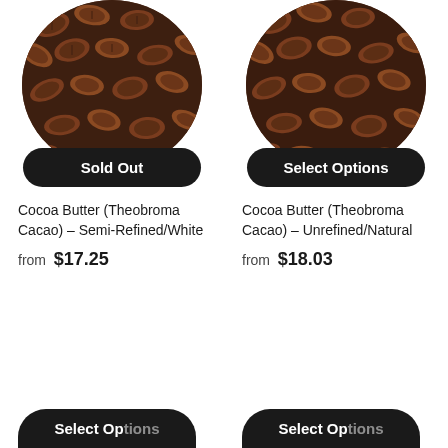[Figure (photo): Circular cropped photo of cocoa beans (brown/dark roasted), top half visible with a black 'Sold Out' button overlaid at the bottom of the circle]
Sold Out
Cocoa Butter (Theobroma Cacao) – Semi-Refined/White
from $17.25
[Figure (photo): Circular cropped photo of cocoa beans (brown/dark roasted), top half visible with a black 'Select Options' button overlaid at the bottom of the circle]
Select Options
Cocoa Butter (Theobroma Cacao) – Unrefined/Natural
from $18.03
[Figure (photo): Bottom partial view of a circular cocoa bean photo with a black 'Select Options' button (partially visible at bottom left)]
[Figure (photo): Bottom partial view of a circular cocoa bean photo with a black 'Select Options' button (partially visible at bottom right)]